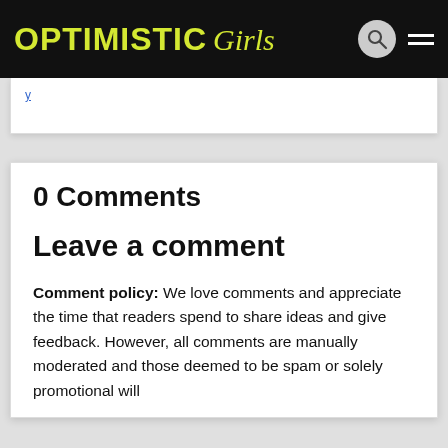OPTIMISTIC Girls
0 Comments
Leave a comment
Comment policy: We love comments and appreciate the time that readers spend to share ideas and give feedback. However, all comments are manually moderated and those deemed to be spam or solely promotional will